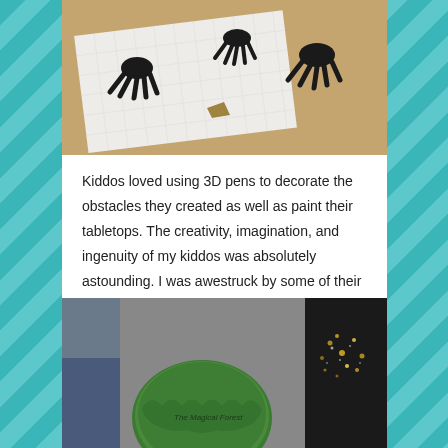[Figure (photo): Photo from above showing black 3D-pen creations (squid/spider-like shapes) on white grid paper on a wooden desk surface]
Kiddos loved using 3D pens to decorate the obstacles they created as well as paint their tabletops. The creativity, imagination, and ingenuity of my kiddos was absolutely astounding. I was awestruck by some of their creations.

Take a look at some of their final products:
[Figure (photo): Photo of a student holding a green circular tabletop painted to look like 'The Magical Forest', with another student in background wearing a dark shirt with sparkly floral design]